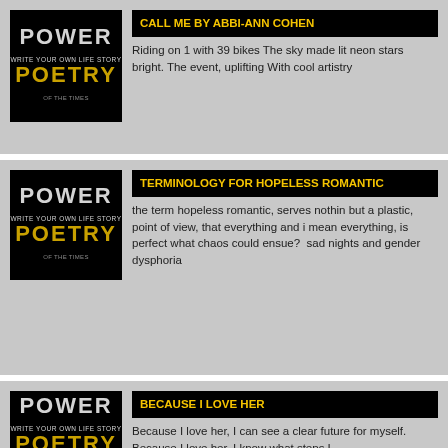CALL ME BY ABBI-ANN COHEN
Riding on 1 with 39 bikes The sky made lit neon stars bright. The event, uplifting With cool artistry
TERMINOLOGY FOR HOPELESS ROMANTIC
the term hopeless romantic, serves nothin but a plastic, point of view, that everything and i mean everything, is perfect what chaos could ensue?  sad nights and gender dysphoria
BECAUSE I LOVE HER
Because I love her, I can see a clear future for myself. Because I love her, I know what steps I